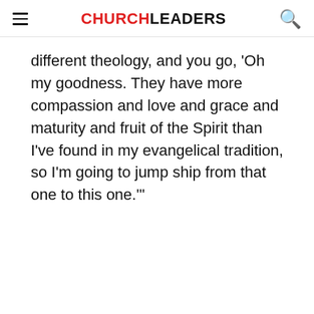CHURCHLEADERS
different theology, and you go, ‘Oh my goodness. They have more compassion and love and grace and maturity and fruit of the Spirit than I’ve found in my evangelical tradition, so I’m going to jump ship from that one to this one.’”